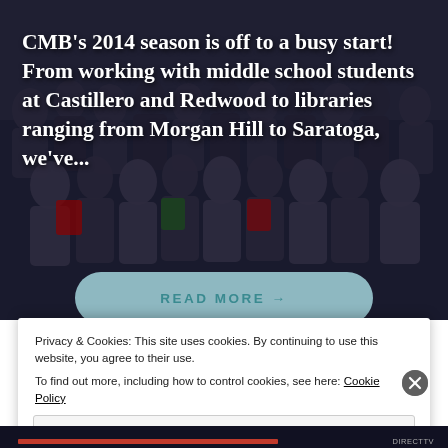[Figure (photo): A large group photo of students (appears to be a math/academic competition team) in a gymnasium or large room, with dark overlay]
CMB's 2014 season is off to a busy start! From working with middle school students at Castillero and Redwood to libraries ranging from Morgan Hill to Saratoga, we've...
READ MORE →
Privacy & Cookies: This site uses cookies. By continuing to use this website, you agree to their use.
To find out more, including how to control cookies, see here: Cookie Policy
Close and accept